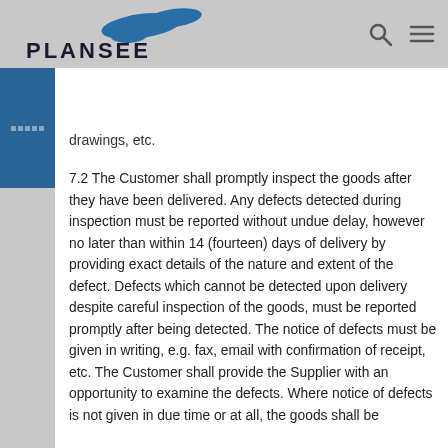PLANSEE
drawings, etc.
7.2 The Customer shall promptly inspect the goods after they have been delivered. Any defects detected during inspection must be reported without undue delay, however no later than within 14 (fourteen) days of delivery by providing exact details of the nature and extent of the defect. Defects which cannot be detected upon delivery despite careful inspection of the goods, must be reported promptly after being detected. The notice of defects must be given in writing, e.g. fax, email with confirmation of receipt, etc. The Customer shall provide the Supplier with an opportunity to examine the defects. Where notice of defects is not given in due time or at all, the goods shall be